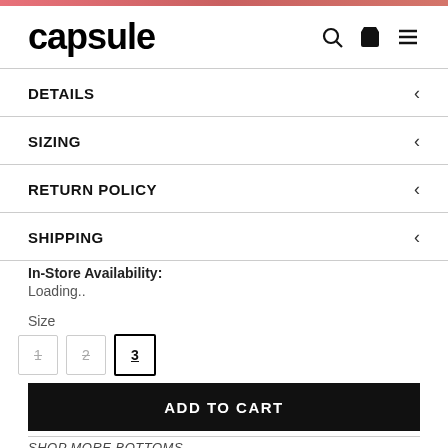capsule
DETAILS
SIZING
RETURN POLICY
SHIPPING
In-Store Availability: Loading..
Size
1  2  3
ADD TO CART
SHOP MORE BOTTOMS